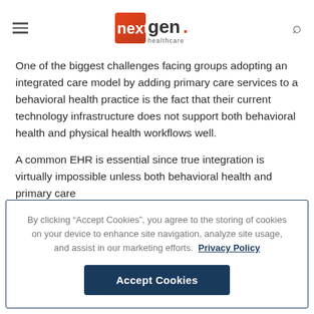nextgen healthcare
One of the biggest challenges facing groups adopting an integrated care model by adding primary care services to a behavioral health practice is the fact that their current technology infrastructure does not support both behavioral health and physical health workflows well.
A common EHR is essential since true integration is virtually impossible unless both behavioral health and primary care
By clicking “Accept Cookies”, you agree to the storing of cookies on your device to enhance site navigation, analyze site usage, and assist in our marketing efforts. Privacy Policy